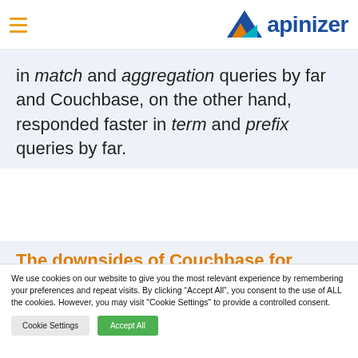apinizer
in match and aggregation queries by far and Couchbase, on the other hand, responded faster in term and prefix queries by far.
The downsides of Couchbase for
We use cookies on our website to give you the most relevant experience by remembering your preferences and repeat visits. By clicking “Accept All”, you consent to the use of ALL the cookies. However, you may visit "Cookie Settings" to provide a controlled consent.